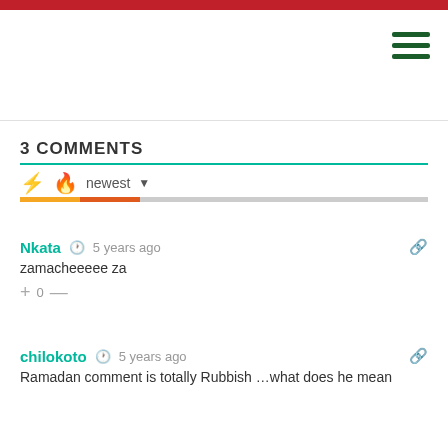3 COMMENTS
newest
Nkata · 5 years ago · zamacheeeee za · 0
chilokoto · 5 years ago · Ramadan comment is totally Rubbish …what does he mean